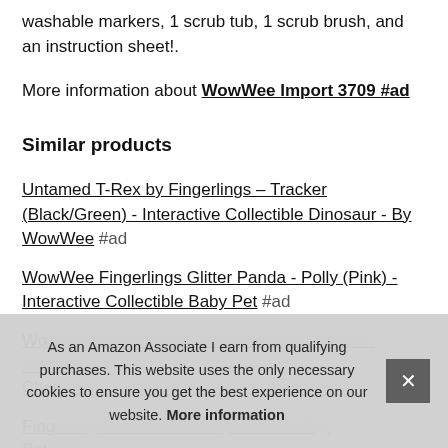washable markers, 1 scrub tub, 1 scrub brush, and an instruction sheet!.
More information about WowWee Import 3709 #ad
Similar products
Untamed T-Rex by Fingerlings – Tracker (Black/Green) - Interactive Collectible Dinosaur - By WowWee #ad
WowWee Fingerlings Glitter Panda - Polly (Pink) - Interactive Collectible Baby Pet #ad
Wow... Fingerlings... Cha...
Fing... Pet...
Untamed T-Rex by Fingerlings – Ripsaw (Red) - Interactive
As an Amazon Associate I earn from qualifying purchases. This website uses the only necessary cookies to ensure you get the best experience on our website. More information